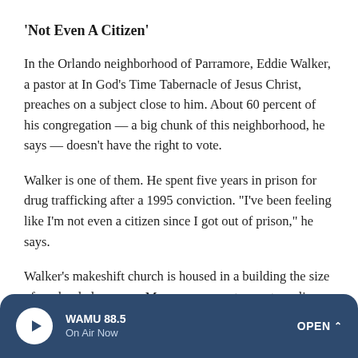'Not Even A Citizen'
In the Orlando neighborhood of Parramore, Eddie Walker, a pastor at In God's Time Tabernacle of Jesus Christ, preaches on a subject close to him. About 60 percent of his congregation — a big chunk of this neighborhood, he says — doesn't have the right to vote.
Walker is one of them. He spent five years in prison for drug trafficking after a 1995 conviction. "I've been feeling like I'm not even a citizen since I got out of prison," he says.
Walker's makeshift church is housed in a building the size of a school classroom. Many congregants are struggling with
[Figure (other): WAMU 88.5 radio player bar with play button, station name, On Air Now label, and OPEN button]